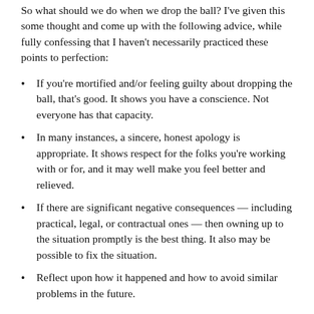So what should we do when we drop the ball? I've given this some thought and come up with the following advice, while fully confessing that I haven't necessarily practiced these points to perfection:
If you're mortified and/or feeling guilty about dropping the ball, that's good. It shows you have a conscience. Not everyone has that capacity.
In many instances, a sincere, honest apology is appropriate. It shows respect for the folks you're working with or for, and it may well make you feel better and relieved.
If there are significant negative consequences — including practical, legal, or contractual ones — then owning up to the situation promptly is the best thing. It also may be possible to fix the situation.
Reflect upon how it happened and how to avoid similar problems in the future.
Above all, forgive yourself. Hold yourself responsible for your miscue and try to do better, but don't let it be the bane of your existence.
Similarly, if someone drops the ball on you, try to be forgiving, especially if they apologize and explain what happened. After all, they